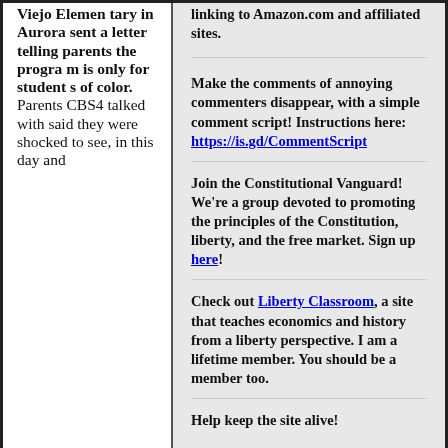Viejo Elementary in Aurora sent a letter telling parents the program is only for students of color. Parents CBS4 talked with said they were shocked to see, in this day and
linking to Amazon.com and affiliated sites.
Make the comments of annoying commenters disappear, with a simple comment script! Instructions here: https://is.gd/CommentScript
Join the Constitutional Vanguard! We're a group devoted to promoting the principles of the Constitution, liberty, and the free market. Sign up here!
Check out Liberty Classroom, a site that teaches economics and history from a liberty perspective. I am a lifetime member. You should be a member too.
Help keep the site alive!